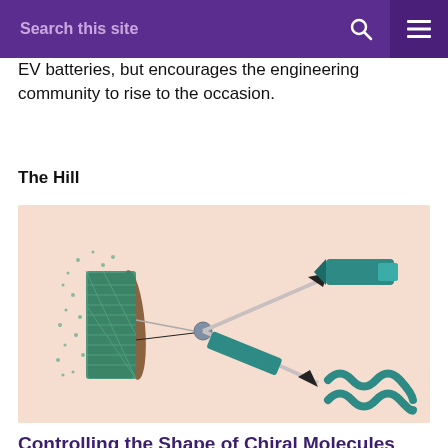Search this site
EV batteries, but encourages the engineering community to rise to the occasion.
The Hill
[Figure (illustration): Scientific illustration on a peach/salmon background showing a cylindrical nanostructure on the left with green bristle-like protrusions and scattered dots, connected by lines through a central pivot point (gray sphere) to two beam-like teal/dark-cyan objects: one pointing upper-right (resembling a marker/pen shape) and one pointing lower-right (a helical/coiled spring shape). Black arrowheads indicate direction along the beams.]
Controlling the Shape of Chiral Molecules